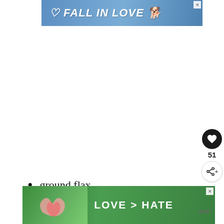[Figure (screenshot): Advertisement banner: blue gradient background with white italic bold text 'FALL IN LOVE' with heart icon and dog silhouette, close button top-right]
[Figure (screenshot): Floating circular dark heart button with count 51 and share button on the right side of page]
ground flax
unsweetened applesauce
[Figure (screenshot): What's Next sidebar showing a carrot cake image with label 'WHAT'S NEXT →' and text 'Easy Carrot Cake Recipe...']
[Figure (screenshot): Bottom advertisement: green gradient background with text 'LOVE > HATE', hands forming heart shape on left, close button, WW logo on right]